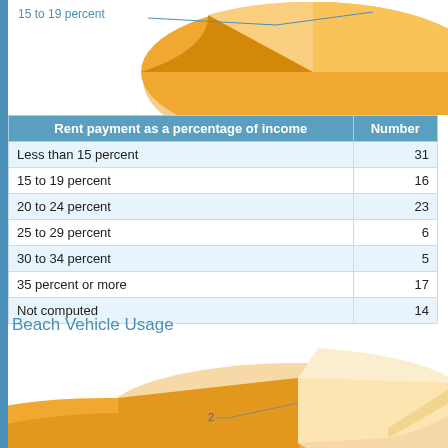[Figure (pie-chart): Top portion of a 3D pie chart showing rent payment as percentage of income, with '15 to 19 percent' label visible]
| Rent payment as a percentage of income | Number |
| --- | --- |
| Less than 15 percent | 31 |
| 15 to 19 percent | 16 |
| 20 to 24 percent | 23 |
| 25 to 29 percent | 6 |
| 30 to 34 percent | 5 |
| 35 percent or more | 17 |
| Not computed | 14 |
Beach Vehicle Usage
[Figure (pie-chart): Bottom portion of a 3D pie chart for Beach Vehicle Usage, with label '2' visible on a slice]